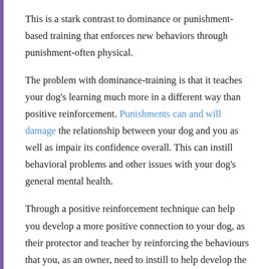This is a stark contrast to dominance or punishment-based training that enforces new behaviors through punishment-often physical.
The problem with dominance-training is that it teaches your dog's learning much more in a different way than positive reinforcement. Punishments can and will damage the relationship between your dog and you as well as impair its confidence overall. This can instill behavioral problems and other issues with your dog's general mental health.
Through a positive reinforcement technique can help you develop a more positive connection to your dog, as their protector and teacher by reinforcing the behaviours that you, as an owner, need to instill to help develop the manner in which your dog reacts and behaves in various settings.
Brain Training for Dogs focuses on this exact teaching method with a variety of educational text, videos as well as Q&A sessions. There